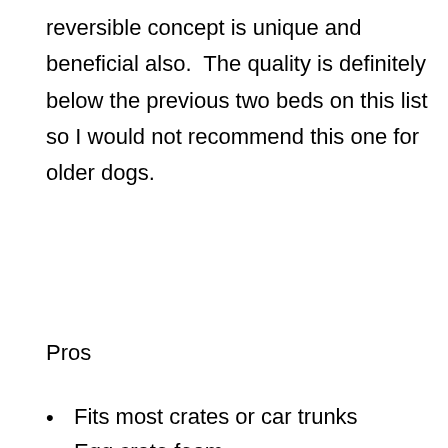reversible concept is unique and beneficial also.  The quality is definitely below the previous two beds on this list so I would not recommend this one for older dogs.
Pros
Fits most crates or car trunks
Egg crate foam
Reversible sides. Warm sherpa and cool Oxford
Removable and washable cover